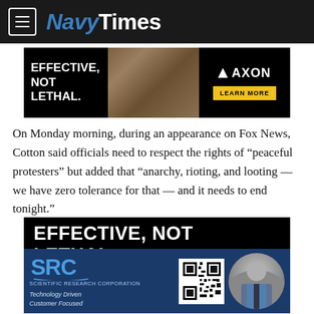NavyTimes
[Figure (other): AXON advertisement banner: EFFECTIVE, NOT LETHAL. with soldier image and AXON LEARN MORE button]
On Monday morning, during an appearance on Fox News, Cotton said officials need to respect the rights of “peaceful protesters” but added that “anarchy, rioting, and looting — we have zero tolerance for that — and it needs to end tonight.”
[Figure (other): AXON advertisement: EFFECTIVE, NOT LETHAL. large text with yellow bar and soldier image]
[Figure (other): SRC Scientific Research Corporation advertisement with QR code and person in military/business attire. Technology Driven Customer Focused]